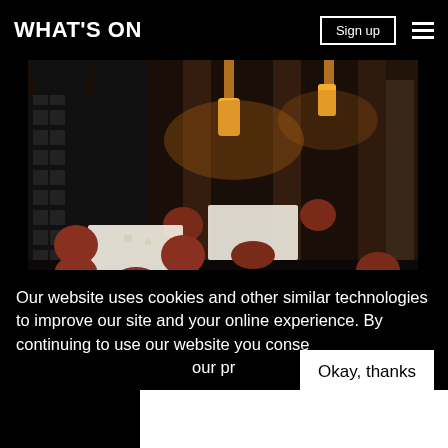WHAT'S ON
[Figure (photo): Interior of an upscale restaurant with dark decor, amber pendant lights, shimmering mesh curtains, and red/brown velvet curved chairs around white-tablecloth-covered tables.]
Our website uses cookies and other similar technologies to improve our site and your online experience. By continuing to use our website you conse... our pr...